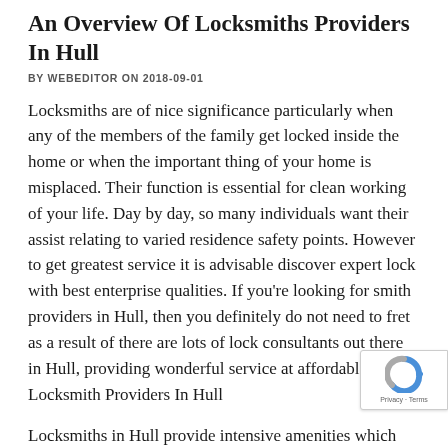An Overview Of Locksmiths Providers In Hull
BY WEBEDITOR ON 2018-09-01
Locksmiths are of nice significance particularly when any of the members of the family get locked inside the home or when the important thing of your home is misplaced. Their function is essential for clean working of your life. Day by day, so many individuals want their assist relating to varied residence safety points. However to get greatest service it is advisable discover expert lock with best enterprise qualities. If you're looking for smith providers in Hull, then you definitely do not need to fret as a result of there are lots of lock consultants out there in Hull, providing wonderful service at affordable price. Locksmith Providers In Hull
Locksmiths in Hull provide intensive amenities which embody mild automotive providers and fashionable providers for business purposes. These locksmiths open locked doorways, restore broken locks, exchange